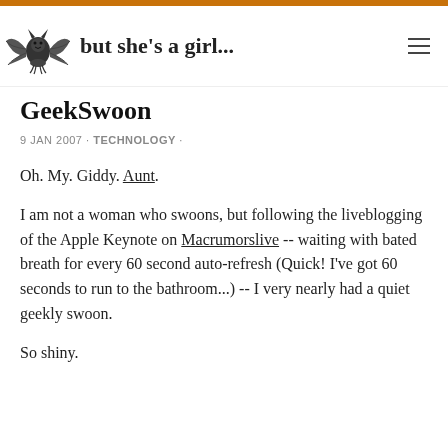but she's a girl...
GeekSwoon
9 JAN 2007 · TECHNOLOGY ·
Oh. My. Giddy. Aunt.
I am not a woman who swoons, but following the liveblogging of the Apple Keynote on Macrumorslive -- waiting with bated breath for every 60 second auto-refresh (Quick! I've got 60 seconds to run to the bathroom...) -- I very nearly had a quiet geekly swoon.
So shiny.